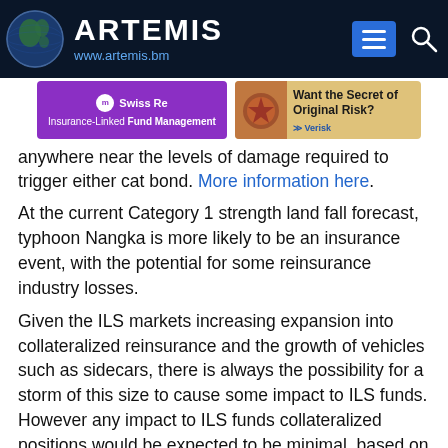ARTEMIS www.artemis.bm
[Figure (other): Swiss Re Insurance-Linked Fund Management advertisement banner (purple)]
[Figure (other): Verisk 'Want the Secret of Original Risk?' advertisement banner (tan/gold)]
anywhere near the levels of damage required to trigger either cat bond. More information here.
At the current Category 1 strength land fall forecast, typhoon Nangka is more likely to be an insurance event, with the potential for some reinsurance industry losses.
Given the ILS markets increasing expansion into collateralized reinsurance and the growth of vehicles such as sidecars, there is always the possibility for a storm of this size to cause some impact to ILS funds. However any impact to ILS funds collateralized positions would be expected to be minimal, based on this latest forecast.
For Nangka to have a major impact on the insurance and reinsurance industry now it would need to maintain its strength up to landfall and also for the track to adjust further towards